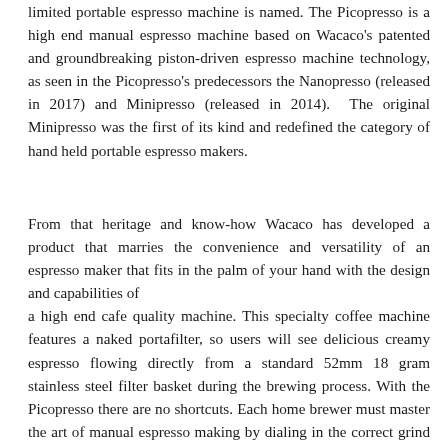limited portable espresso machine is named. The Picopresso is a high end manual espresso machine based on Wacaco's patented and groundbreaking piston-driven espresso machine technology, as seen in the Picopresso's predecessors the Nanopresso (released in 2017) and Minipresso (released in 2014). The original Minipresso was the first of its kind and redefined the category of hand held portable espresso makers.
From that heritage and know-how Wacaco has developed a product that marries the convenience and versatility of an espresso maker that fits in the palm of your hand with the design and capabilities of a high end cafe quality machine. This specialty coffee machine features a naked portafilter, so users will see delicious creamy espresso flowing directly from a standard 52mm 18 gram stainless steel filter basket during the brewing process. With the Picopresso there are no shortcuts. Each home brewer must master the art of manual espresso making by dialing in the correct grind size, tamping, and perfecting pulling technique – their